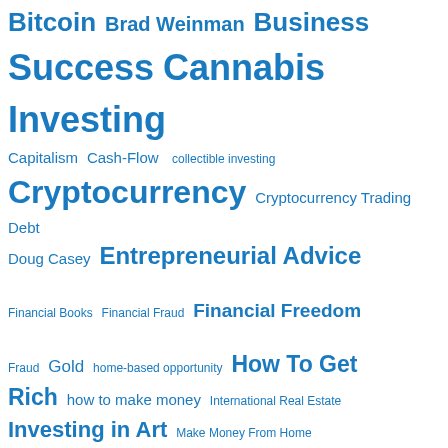[Figure (other): Tag cloud of financial topics in various font sizes, all in blue. Tags include: Bitcoin, Brad Weinman, Business Success, Cannabis Investing, Capitalism, Cash-Flow, collectible investing, Cryptocurrency, Cryptocurrency Trading, Debt, Doug Casey, Entrepreneurial Advice, Financial Books, Financial Fraud, Financial Freedom, Fraud, Gold, home-based opportunity, How To Get Rich, how to make money, International Real Estate, Investing in Art, Make Money From Home, Mitch Miller, Money Hacks, Morgan Housel, Noah Kagan, Passive-Income, Perry Marshall, Popular, Real Estate Investing, Robert Kiyosaki, Save Money, Scams, Self-Responsibility, Seth Godin, Social Media, Sovereignty, Speculation, Trading The Markets]